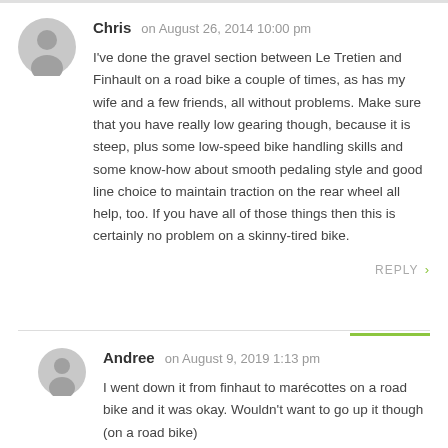Chris on August 26, 2014 10:00 pm
I've done the gravel section between Le Tretien and Finhault on a road bike a couple of times, as has my wife and a few friends, all without problems. Make sure that you have really low gearing though, because it is steep, plus some low-speed bike handling skills and some know-how about smooth pedaling style and good line choice to maintain traction on the rear wheel all help, too. If you have all of those things then this is certainly no problem on a skinny-tired bike.
REPLY >
Andree on August 9, 2019 1:13 pm
I went down it from finhaut to marécottes on a road bike and it was okay. Wouldn't want to go up it though (on a road bike)